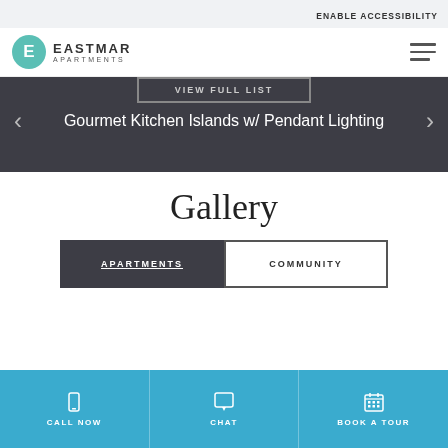ENABLE ACCESSIBILITY
[Figure (logo): Eastmar Apartments logo with teal circle E and text]
VIEW FULL LIST
Gourmet Kitchen Islands w/ Pendant Lighting
Gallery
APARTMENTS
COMMUNITY
CALL NOW
CHAT
BOOK A TOUR